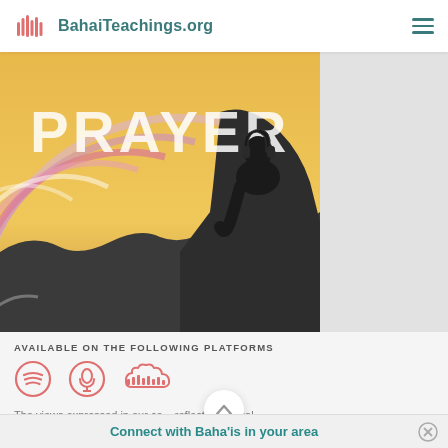BahaiTeachings.org
[Figure (illustration): Podcast cover art showing the word PRAYER partially visible at top, with concentric arcs in pink/purple tones and a silhouetted figure against a golden/yellow sunset background. A person wearing headphones is silhouetted on the right side.]
AVAILABLE ON THE FOLLOWING PLATFORMS
[Figure (infographic): Three podcast platform icons: Spotify (circle with sound waves), Apple Podcasts (circle with podcast symbol), and SoundCloud (sound wave bars). All rendered in salmon/pink color.]
The views expressed in our co  reflect individual
Connect with Baha'is in your area